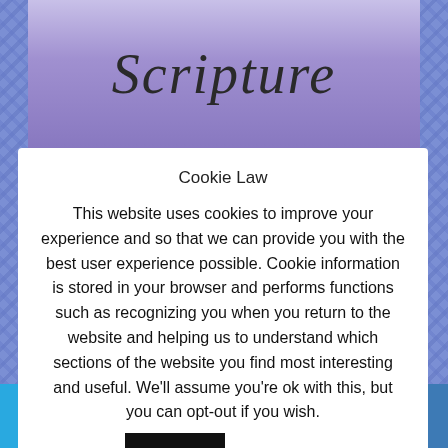[Figure (screenshot): Top banner image showing 'Scripture' text in italic script font over a purple/lavender background with decorative books]
Cookie Law
This website uses cookies to improve your experience and so that we can provide you with the best user experience possible. Cookie information is stored in your browser and performs functions such as recognizing you when you return to the website and helping us to understand which sections of the website you find most interesting and useful. We'll assume you're ok with this, but you can opt-out if you wish. Accept Read More
seemed really strongly. He would have me
[Figure (infographic): Social sharing bar at the bottom with icons for Twitter, Facebook, Email, WhatsApp, SMS, and More]